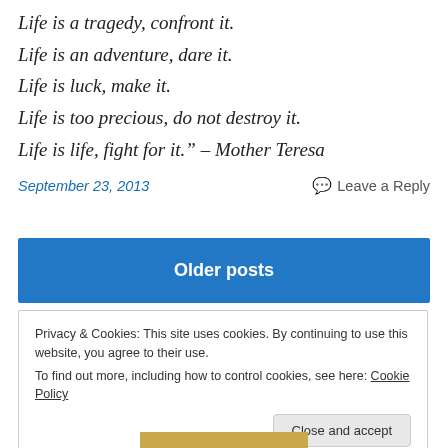Life is a tragedy, confront it.
Life is an adventure, dare it.
Life is luck, make it.
Life is too precious, do not destroy it.
Life is life, fight for it." – Mother Teresa
September 23, 2013
Leave a Reply
Older posts
Privacy & Cookies: This site uses cookies. By continuing to use this website, you agree to their use.
To find out more, including how to control cookies, see here: Cookie Policy
Close and accept